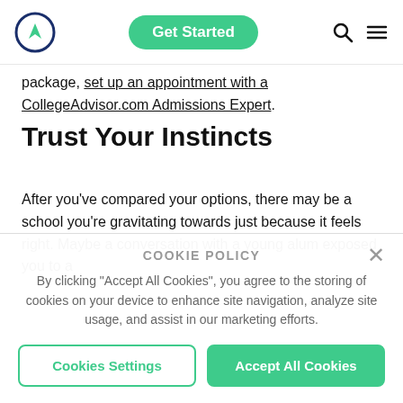Get Started [nav bar with logo, Get Started button, search and menu icons]
package, set up an appointment with a CollegeAdvisor.com Admissions Expert.
Trust Your Instincts
After you’ve compared your options, there may be a school you’re gravitating towards just because it feels right. Maybe a conversation with a young alum exposed you to a
COOKIE POLICY
By clicking “Accept All Cookies”, you agree to the storing of cookies on your device to enhance site navigation, analyze site usage, and assist in our marketing efforts.
Cookies Settings
Accept All Cookies